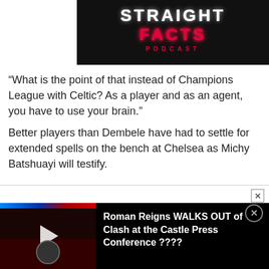[Figure (screenshot): Podcast thumbnail with dark background showing 'STRAIGHT FACTS PODCAST' text in neon-style lettering — white for STRAIGHT FACTS and red for FACTS, with PODCAST in red spaced letters below]
“What is the point of that instead of Champions League with Celtic? As a player and as an agent, you have to use your brain.”
Better players than Dembele have had to settle for extended spells on the bench at Chelsea as Michy Batshuayi will testify.
[Figure (screenshot): Video advertisement overlay showing WWE-related content with Roman Reigns WALKS OUT of Clash at the Castle Press Conference ???? text, with a play button on left thumbnail side and close button.]